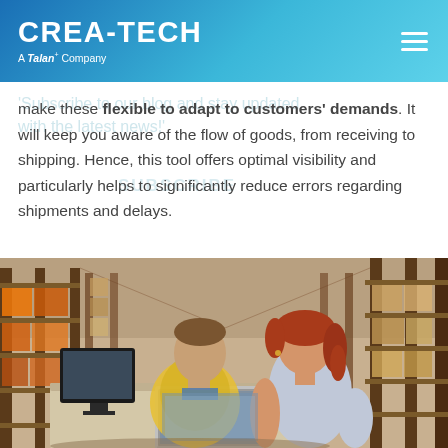CREATECH A Talan Company
make these flexible to adapt to customers' demands. It will keep you aware of the flow of goods, from receiving to shipping. Hence, this tool offers optimal visibility and particularly helps to significantly reduce errors regarding shipments and delays.
[Figure (photo): Warehouse photo showing a woman and man working at a desk with a laptop and monitor, with tall shelving racks of boxes in the background.]